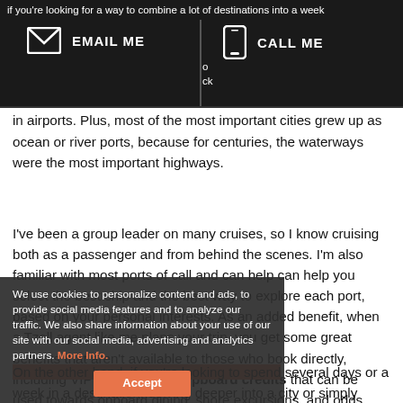if you're looking for a way to combine a lot of destinations into a week
[Figure (infographic): Dark header bar with EMAIL ME (envelope icon) and CALL ME (phone icon) contact buttons on black background]
in airports. Plus, most of the most important cities grew up as ocean or river ports, because for centuries, the waterways were the most important highways.
I've been a group leader on many cruises, so I know cruising both as a passenger and from behind the scenes. I'm also familiar with most ports of call and can help can help you select the best ship and the best way to explore each port, based on your personal interests. As an added benefit, when a Tzell agent like me plans your trip, you get some great benefits that aren't available to those who book directly, including VIP benefits like shipboard credits that can be used towards onboard dining, shore excursions, and odds, depending on the cruise line.
We use cookies to personalize content and ads, to provide social media features and to analyze our traffic. We also share information about your use of our site with our social media, advertising and analytics partners. More Info.
On the other hand, if you're looking to spend several days or a week in a destination, delving deeper into a city or simply relaxing, I can help